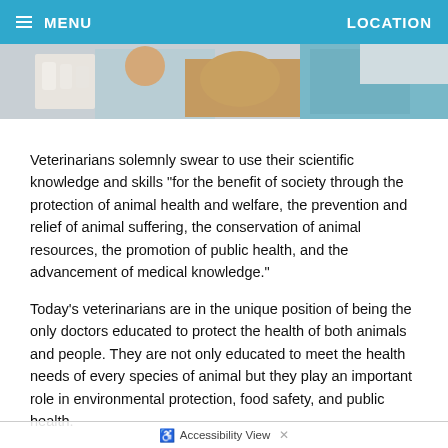≡ MENU    LOCATION
[Figure (photo): Photo of a veterinarian in teal/green scrubs examining a dog with a person (owner) nearby, in a clinical setting with bottles/supplies visible in background.]
Veterinarians solemnly swear to use their scientific knowledge and skills "for the benefit of society through the protection of animal health and welfare, the prevention and relief of animal suffering, the conservation of animal resources, the promotion of public health, and the advancement of medical knowledge."
Today's veterinarians are in the unique position of being the only doctors educated to protect the health of both animals and people. They are not only educated to meet the health needs of every species of animal but they play an important role in environmental protection, food safety, and public health.
In taking The Veterinarian's Oath, a doctor solemnly swears to use his or her scientific knowledge and skills "for